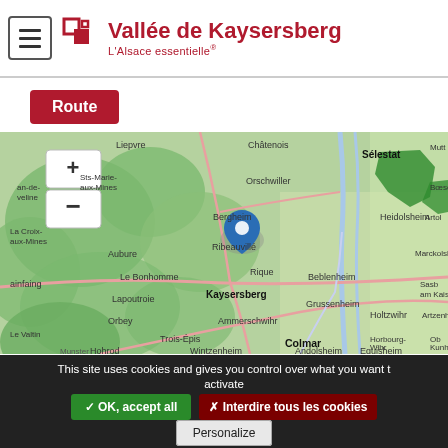Vallée de Kaysersberg — L'Alsace essentielle
Route
[Figure (map): OpenStreetMap showing the Vallée de Kaysersberg region in Alsace, France. A blue location pin marks Kaysersberg. Nearby towns include Sélestat, Ribeauvillé, Colmar, Beblenheim, Orbey, Lapoutroie, Le Bonhomme, Ammerschwihr, Trois-Épis, Eguisheim, Munster, Hohrod, Wintzenheim, Bergheim, Grussenheim, Holtzwihr, Artzenheim, Heidolsheim, Orschwiller, Châtenois. Green forested hills visible. Map has zoom controls (+/−).]
This site uses cookies and gives you control over what you want to activate
✓ OK, accept all
✗ Interdire tous les cookies
Personalize